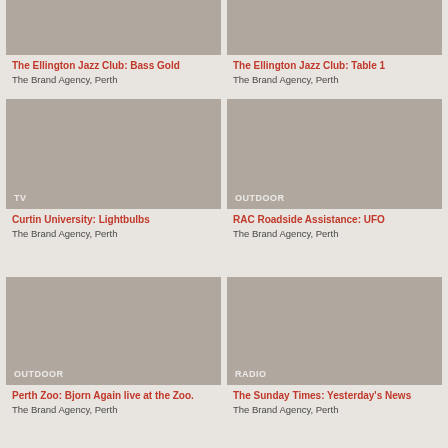[Figure (photo): Partial card image top-left, no category label visible]
The Ellington Jazz Club: Bass Gold
The Brand Agency, Perth
[Figure (photo): Partial card image top-right, no category label visible]
The Ellington Jazz Club: Table 1
The Brand Agency, Perth
[Figure (photo): TV category card image]
Curtin University: Lightbulbs
The Brand Agency, Perth
[Figure (photo): OUTDOOR category card image]
RAC Roadside Assistance: UFO
The Brand Agency, Perth
[Figure (photo): OUTDOOR category card image]
Perth Zoo: Bjorn Again live at the Zoo.
The Brand Agency, Perth
[Figure (photo): RADIO category card image]
The Sunday Times: Yesterday's News
The Brand Agency, Perth
[Figure (photo): Partial card image bottom-left]
[Figure (photo): Partial card image bottom-right]